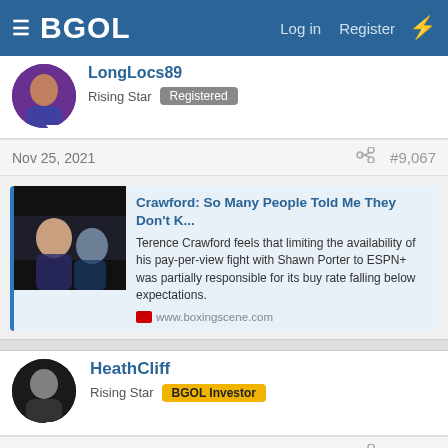BGOL | Log in | Register
LongLocs89
Rising Star Registered
Nov 25, 2021 #9,067
[Figure (screenshot): Link card preview for boxingscene.com article: Crawford: So Many People Told Me They Don't K... with boxing match photo thumbnail]
Crawford: So Many People Told Me They Don't K...
Terence Crawford feels that limiting the availability of his pay-per-view fight with Shawn Porter to ESPN+ was partially responsible for its buy rate falling below expectations.
www.boxingscene.com
HeathCliff
Rising Star BGOL Investor
Nov 26, 2021 #9,068
[Figure (screenshot): Video preview thumbnail showing Teofimo Lopez vs George Kambosos with matchroom logo]